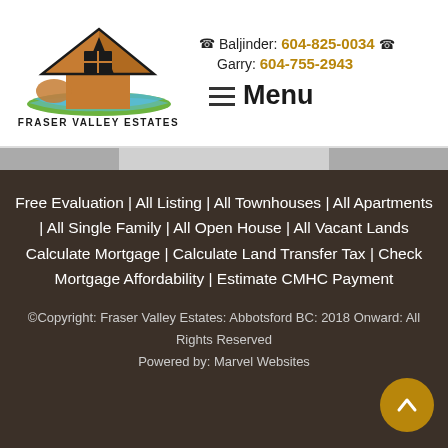[Figure (logo): Fraser Valley Estates logo with house silhouette and landscape in brown, black, blue and green colors]
FRASER VALLEY ESTATES
Baljinder: 604-825-0034
Garry: 604-755-2943
Menu
Free Evaluation | All Listing | All Townhouses | All Apartments | All Single Family | All Open House | All Vacant Lands Calculate Mortgage | Calculate Land Transfer Tax | Check Mortgage Affordability | Estimate CMHC Payment
©Copyright: Fraser Valley Estates: Abbotsford BC: 2018 Onward: All Rights Reserved
Powered by: Marvel Websites